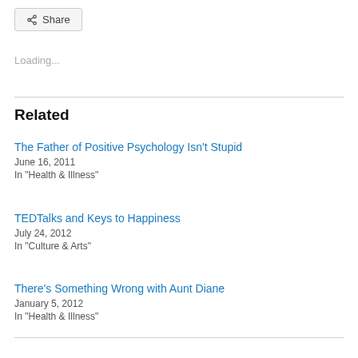Share
Loading...
Related
The Father of Positive Psychology Isn't Stupid
June 16, 2011
In "Health & Illness"
TEDTalks and Keys to Happiness
July 24, 2012
In "Culture & Arts"
There's Something Wrong with Aunt Diane
January 5, 2012
In "Health & Illness"